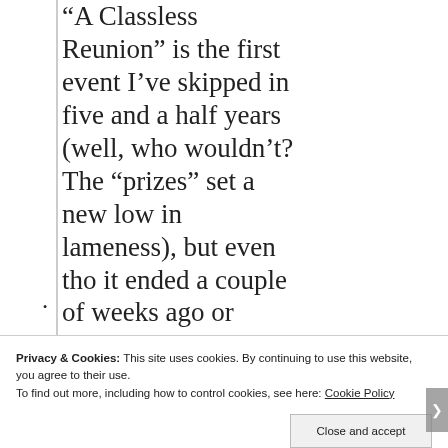“A Classless Reunion” is the first event I’ve skipped in five and a half years (well, who wouldn’t? The “prizes” set a new low in lameness), but even tho it ended a couple of weeks ago or whenever, it’s still on my phone, which suggests to me that
Privacy & Cookies: This site uses cookies. By continuing to use this website, you agree to their use.
To find out more, including how to control cookies, see here: Cookie Policy
Close and accept